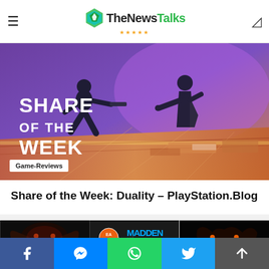TheNewsTalks
[Figure (photo): Game screenshot showing two dark silhouetted figures in a purple-toned corridor, with the text 'SHARE OF THE WEEK' overlaid in large white letters]
Game-Reviews
Share of the Week: Duality – PlayStation.Blog
[Figure (photo): Bottom thumbnail strip showing three game images: a dark fantasy creature, Madden NFL 23 logo, and another dark game screenshot]